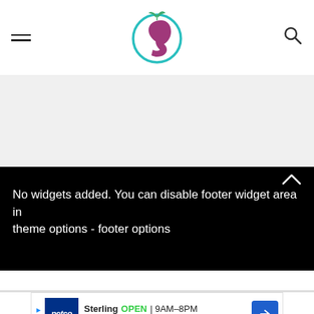Website header with hamburger menu, logo, and search icon
[Figure (logo): Circular logo with teal ring, green leaves, and a magenta/purple profile silhouette of a face]
No widgets added. You can disable footer widget area in theme options - footer options
[Figure (screenshot): Advertisement banner for Petco Sterling showing OPEN 9AM-8PM, 22000 Dulles Retail Plaza, #110, S...]